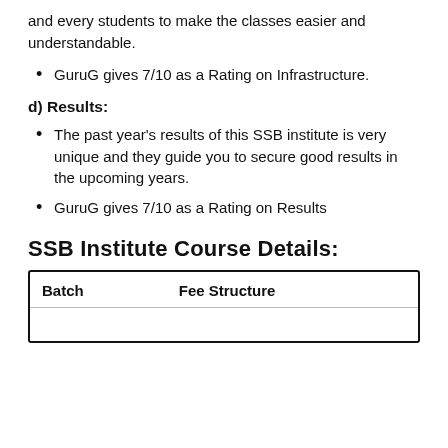and every students to make the classes easier and understandable.
GuruG gives 7/10 as a Rating on Infrastructure.
d) Results:
The past year's results of this SSB institute is very unique and they guide you to secure good results in the upcoming years.
GuruG gives 7/10 as a Rating on Results
SSB Institute Course Details:
| Batch | Fee Structure |
| --- | --- |